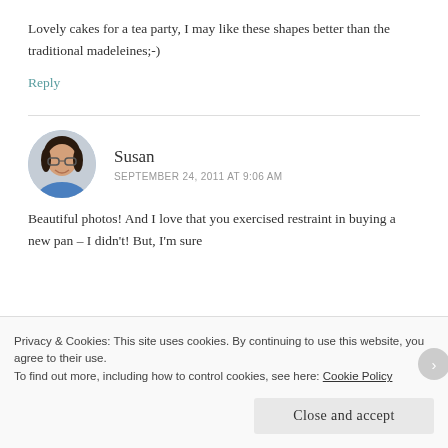Lovely cakes for a tea party, I may like these shapes better than the traditional madeleines;-)
Reply
Susan
SEPTEMBER 24, 2011 AT 9:06 AM
Beautiful photos! And I love that you exercised restraint in buying a new pan – I didn't! But, I'm sure
Privacy & Cookies: This site uses cookies. By continuing to use this website, you agree to their use.
To find out more, including how to control cookies, see here: Cookie Policy
Close and accept